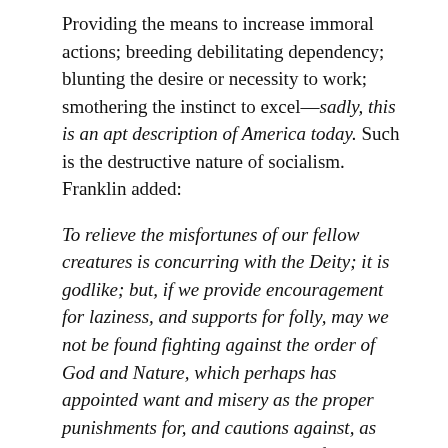Providing the means to increase immoral actions; breeding debilitating dependency; blunting the desire or necessity to work; smothering the instinct to excel—sadly, this is an apt description of America today. Such is the destructive nature of socialism. Franklin added:
To relieve the misfortunes of our fellow creatures is concurring with the Deity; it is godlike; but, if we provide encouragement for laziness, and supports for folly, may we not be found fighting against the order of God and Nature, which perhaps has appointed want and misery as the proper punishments for, and cautions against, as well as necessary consequences of, idleness and extravagance? Whenever we attempt to amend the scheme of Providence, and to interfere with the government of the world, we had need be very circumspect, lest we do more harm than good.
Would that America had paid closer attention, not only to